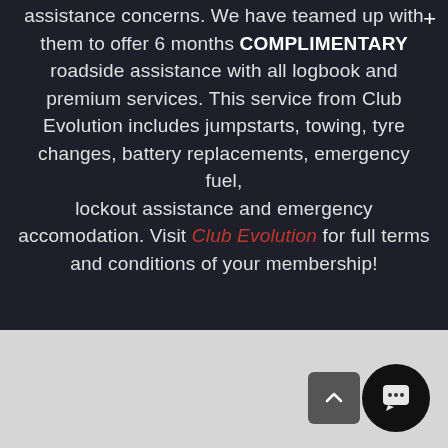Club Evolution is the answer to your road side assistance concerns. We have teamed up with them to offer 6 months COMPLIMENTARY roadside assistance with all logbook and premium services. This service from Club Evolution includes jumpstarts, towing, tyre changes, battery replacements, emergency fuel, lockout assistance and emergency accomodation. Visit Club Evolution for full terms and conditions of your membership!